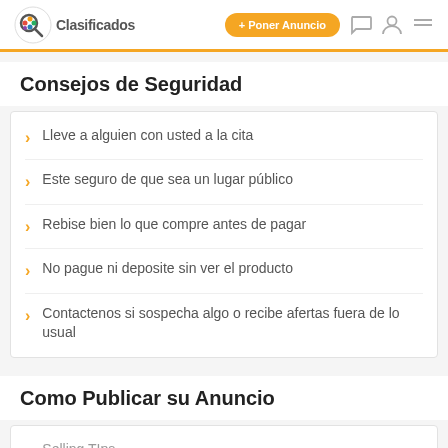Clasificados | + Poner Anuncio
Consejos de Seguridad
Lleve a alguien con usted a la cita
Este seguro de que sea un lugar público
Rebise bien lo que compre antes de pagar
No pague ni deposite sin ver el producto
Contactenos si sospecha algo o recibe afertas fuera de lo usual
Como Publicar su Anuncio
Selling TIps